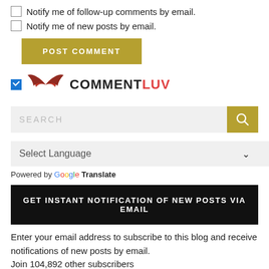Notify me of follow-up comments by email.
Notify me of new posts by email.
POST COMMENT
[Figure (logo): CommentLuv logo with checked checkbox, red/dark bird wings graphic and COMMENTLUV text]
SEARCH (search bar with gold search button)
Select Language (dropdown with chevron)
Powered by Google Translate
GET INSTANT NOTIFICATION OF NEW POSTS VIA EMAIL
Enter your email address to subscribe to this blog and receive notifications of new posts by email.
Join 104,892 other subscribers